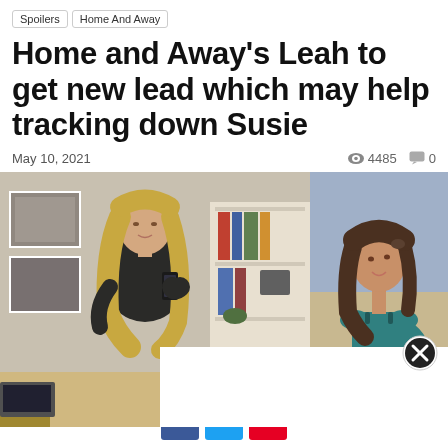Spoilers | Home And Away
Home and Away’s Leah to get new lead which may help tracking down Susie
May 10, 2021
◉ 4485 💬 0
[Figure (photo): Two photos side by side: left photo shows a blonde woman in a dark top looking at her phone indoors with a bookshelf behind her; right photo shows a brunette woman in a teal top outdoors on a beach setting.]